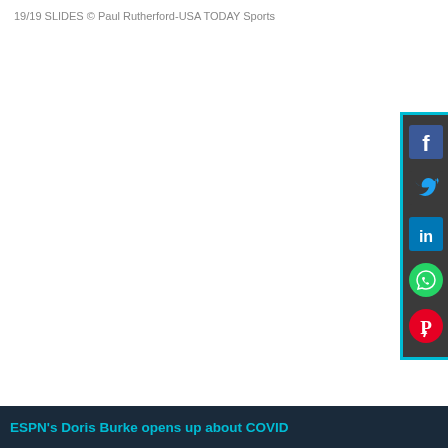19/19 SLIDES © Paul Rutherford-USA TODAY Sports
[Figure (other): Social media sharing panel with Facebook, Twitter, LinkedIn, WhatsApp, and Pinterest icons on a dark background with teal border]
ESPN's Doris Burke opens up about COVID